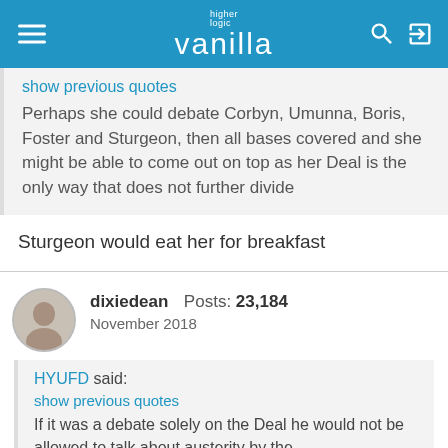[Figure (screenshot): Vanilla (Higher Logic) forum navigation bar with hamburger menu, search icon, and login icon]
show previous quotes
Perhaps she could debate Corbyn, Umunna, Boris, Foster and Sturgeon, then all bases covered and she might be able to come out on top as her Deal is the only way that does not further divide
Sturgeon would eat her for breakfast
dixiedean  Posts: 23,184
November 2018
HYUFD said:
show previous quotes
If it was a debate solely on the Deal he would not be allowed to talk about austerity by the